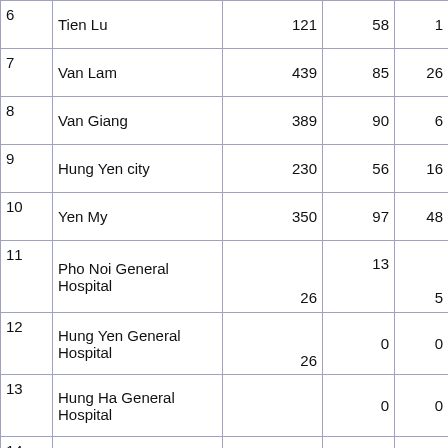|  |  |  |  |  |
| --- | --- | --- | --- | --- |
| 6 | Tien Lu | 121 | 58 | 1 |
| 7 | Van Lam | 439 | 85 | 26 |
| 8 | Van Giang | 389 | 90 | 6 |
| 9 | Hung Yen city | 230 | 56 | 16 |
| 10 | Yen My | 350 | 97 | 48 |
| 11 | Pho Noi General Hospital | 26 | 13 | 5 |
| 12 | Hung Yen General Hospital | 26 | 0 | 0 |
| 13 | Hung Ha General Hospital |  | 0 | 0 |
| 14 | Tropical Diseases Hospital |  | 2 | 1 |
| 15 | Obstetrics and Pediatrics Hospital | 21 | 0 | 0 |